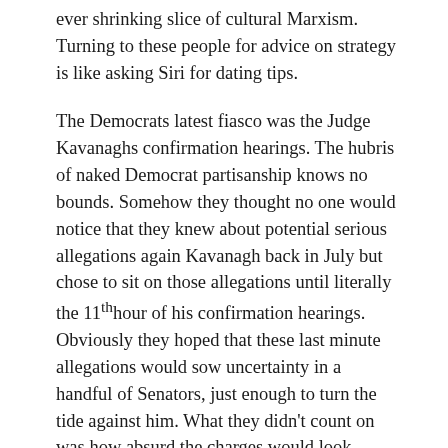ever shrinking slice of cultural Marxism. Turning to these people for advice on strategy is like asking Siri for dating tips.
The Democrats latest fiasco was the Judge Kavanaghs confirmation hearings. The hubris of naked Democrat partisanship knows no bounds. Somehow they thought no one would notice that they knew about potential serious allegations again Kavanagh back in July but chose to sit on those allegations until literally the 11th hour of his confirmation hearings. Obviously they hoped that these last minute allegations would sow uncertainty in a handful of Senators, just enough to turn the tide against him. What they didn't count on was how absurd the charges would look under public scrutiny by the “common” American (seriously, something that happened nearly 40 years ago in HIGH SCHOOL!). If he did what he was accused of doing it is naturally condemnable behavior – but it’s not rape. Guys being pigs isn’t rape. Who hasn’t done something stupid in their youth that they then NEVER DID AGAIN? I’m sure if they